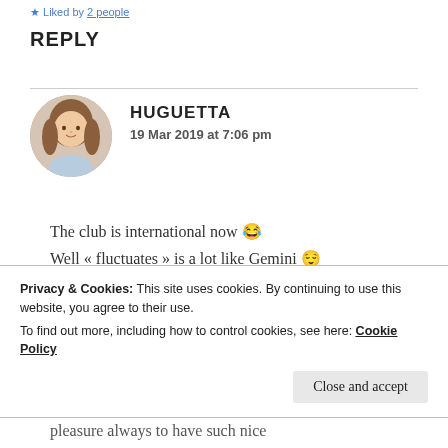Liked by 2 people
REPLY
HUGUETTA
19 Mar 2019 at 7:06 pm
The club is international now 😂
Well « fluctuates » is a lot like Gemini 😌
I'm Virgo
I would certainly be a wolf 😊 I'm used now
Privacy & Cookies: This site uses cookies. By continuing to use this website, you agree to their use.
To find out more, including how to control cookies, see here: Cookie Policy
pleasure always to have such nice